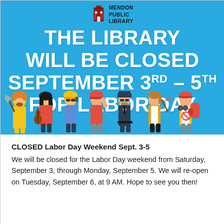[Figure (illustration): Mendon Public Library logo with red building icon and text, displayed on blue banner background with cartoon workers representing various professions (firefighter, musician, construction worker, laborer, police officer, carpenter, hiker/backpacker) standing across the bottom of the banner.]
THE LIBRARY WILL BE CLOSED SEPTEMBER 3RD – 5TH FOR LABOR DAY
CLOSED Labor Day Weekend Sept. 3-5
We will be closed for the Labor Day weekend from Saturday, September 3, through Monday, September 5. We will re-open on Tuesday, September 6, at 9 AM. Hope to see you then!